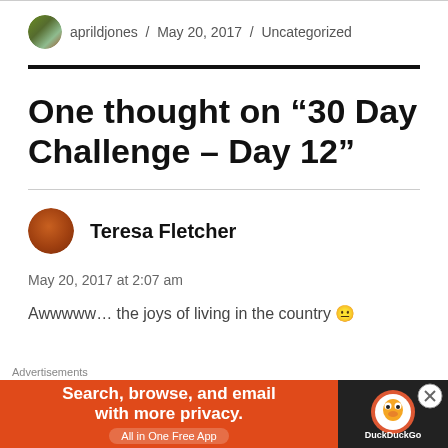aprildjones / May 20, 2017 / Uncategorized
One thought on “30 Day Challenge – Day 12”
Teresa Fletcher
May 20, 2017 at 2:07 am
Awwwww… the joys of living in the country 😐
[Figure (screenshot): DuckDuckGo advertisement banner: orange background with text 'Search, browse, and email with more privacy. All in One Free App' and DuckDuckGo logo on dark right panel.]